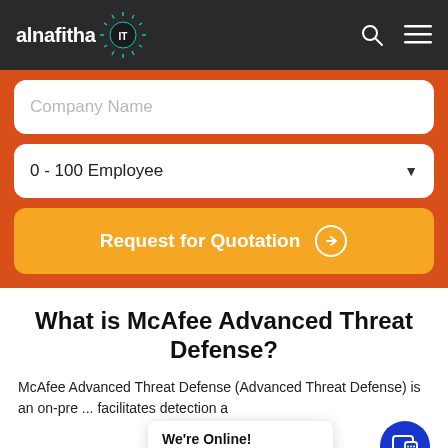alnafitha IT
Company Name
0 - 100 Employee
Request for Quotation
What is McAfee Advanced Threat Defense?
McAfee Advanced Threat Defense (Advanced Threat Defense) is an on-pre... facilitates detection a... ance
We're Online! How may I help you today?